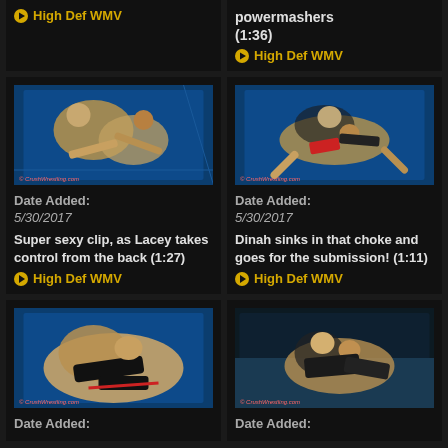▶ High Def WMV
powermashers (1:36)
▶ High Def WMV
[Figure (photo): Two female wrestlers grappling on a blue mat, one controlling from behind. © CrushWrestling.com]
[Figure (photo): Two female wrestlers, one applying a choke hold. © CrushWrestling.com]
Date Added:
5/30/2017
Super sexy clip, as Lacey takes control from the back (1:27)
▶ High Def WMV
Date Added:
5/30/2017
Dinah sinks in that choke and goes for the submission! (1:11)
▶ High Def WMV
[Figure (photo): Close-up of female wrestlers in bikini wrestling attire on a blue mat. © CrushWrestling.com]
[Figure (photo): Two female wrestlers, one applying a hold from behind on a blue mat. © CrushWrestling.com]
Date Added:
Date Added: